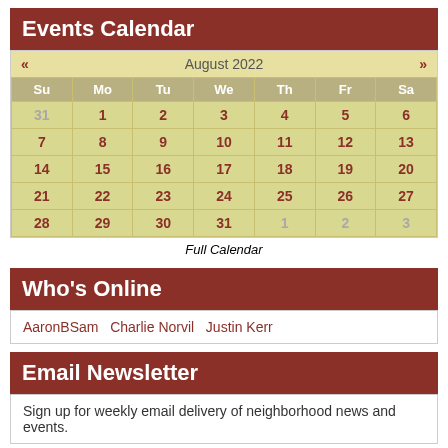Events Calendar
| Su | Mo | Tu | We | Th | Fr | Sa |
| --- | --- | --- | --- | --- | --- | --- |
| 31 | 1 | 2 | 3 | 4 | 5 | 6 |
| 7 | 8 | 9 | 10 | 11 | 12 | 13 |
| 14 | 15 | 16 | 17 | 18 | 19 | 20 |
| 21 | 22 | 23 | 24 | 25 | 26 | 27 |
| 28 | 29 | 30 | 31 | 1 | 2 | 3 |
Full Calendar
Who's Online
AaronBSam  Charlie Norvil  Justin Kerr
Email Newsletter
Sign up for weekly email delivery of neighborhood news and events.